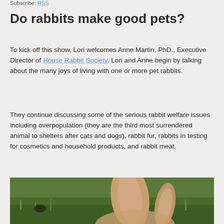Subscribe: RSS
Do rabbits make good pets?
To kick off this show, Lori welcomes Anne Martin, PhD., Executive Director of House Rabbit Society. Lori and Anne begin by talking about the many joys of living with one or more pet rabbits.
They continue discussing some of the serious rabbit welfare issues including overpopulation (they are the third most surrendered animal to shelters after cats and dogs), rabbit fur, rabbits in testing for cosmetics and household products, and rabbit meat.
[Figure (photo): Close-up photo of a rabbit's ear against a green grass background]